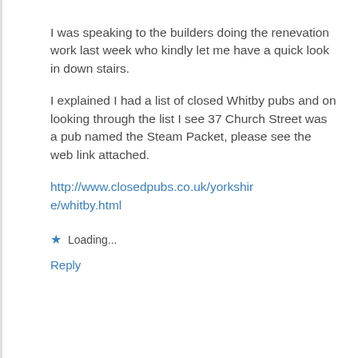I was speaking to the builders doing the renevation work last week who kindly let me have a quick look in down stairs.
I explained I had a list of closed Whitby pubs and on looking through the list I see 37 Church Street was a pub named the Steam Packet, please see the web link attached.
http://www.closedpubs.co.uk/yorkshire/whitby.html
Loading...
Reply